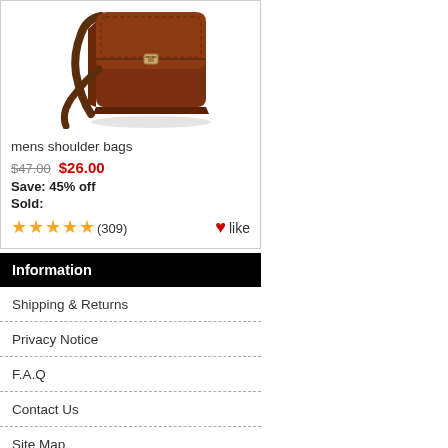[Figure (photo): Brown leather mens shoulder bag with strap, product photo on white background]
mens shoulder bags
$47.00  $26.00
Save: 45% off
Sold:
★★★★★ (309)   ♥like
Information
Shipping & Returns
Privacy Notice
F.A.Q
Contact Us
Site Map
Gift Certificate FAQ
Discount Coupons